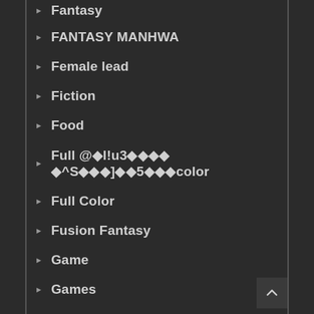Fantasy
FANTASY MANHWA
Female lead
Fiction
Food
Full @�l!u3���� �^S���]��5���color
Full Color
Fusion Fantasy
Game
Games
Gaming
GANGS
Genderswap
Ghosts